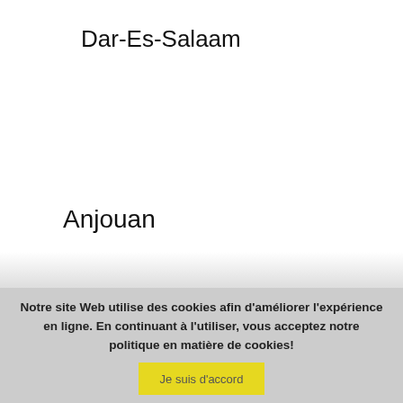Dar-Es-Salaam
Anjouan
Notre site Web utilise des cookies afin d'améliorer l'expérience en ligne. En continuant à l'utiliser, vous acceptez notre politique en matière de cookies!
Je suis d'accord